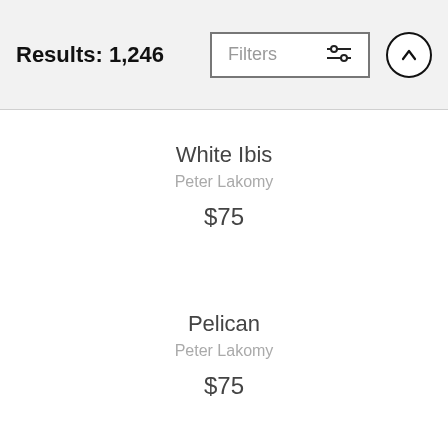Results: 1,246
White Ibis
Peter Lakomy
$75
Pelican
Peter Lakomy
$75
Duck-drake
Peter Lakomy